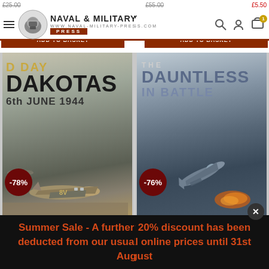[Figure (screenshot): Naval & Military Press website header with logo, hamburger menu, search icon, user icon, and shopping cart with badge showing 1]
£25.00  £55.00  £5.50
ADD TO BASKET  ADD TO BASKET
[Figure (photo): Book cover: D Day Dakotas 6th June 1944 with -78% discount badge, showing WWII aircraft]
[Figure (photo): Book cover: The Dauntless In Battle with -76% discount badge, showing WWII dive bomber]
Summer Sale - A further 20% discount has been deducted from our usual online prices until 31st August